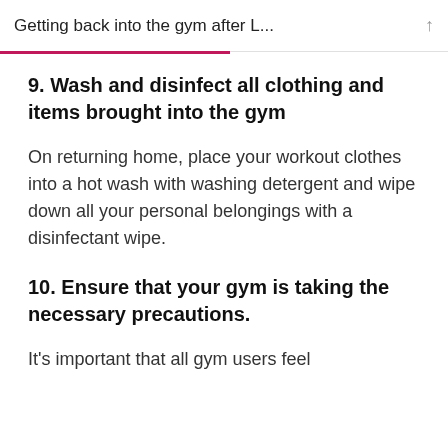Getting back into the gym after L...
9. Wash and disinfect all clothing and items brought into the gym
On returning home, place your workout clothes into a hot wash with washing detergent and wipe down all your personal belongings with a disinfectant wipe.
10. Ensure that your gym is taking the necessary precautions.
It's important that all gym users feel